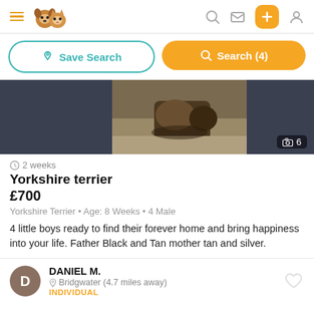App navigation bar with hamburger menu, pet logo, search icon, message icon, plus button, and profile icon
Save Search
Search (4)
[Figure (photo): Dark-background listing image showing Yorkshire terrier puppies, with a photo count indicator showing 6 photos]
2 weeks
Yorkshire terrier
£700
Yorkshire Terrier • Age: 8 Weeks • 4 Male
4 little boys ready to find their forever home and bring happiness into your life. Father Black and Tan mother tan and silver.
DANIEL M.
Bridgwater (4.7 miles away)
INDIVIDUAL